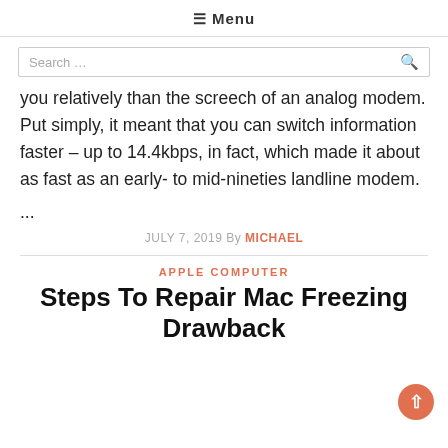≡ Menu
Search …
you relatively than the screech of an analog modem. Put simply, it meant that you can switch information faster – up to 14.4kbps, in fact, which made it about as fast as an early- to mid-nineties landline modem.
...
JULY 7, 2019 By MICHAEL
APPLE COMPUTER
Steps To Repair Mac Freezing Drawback